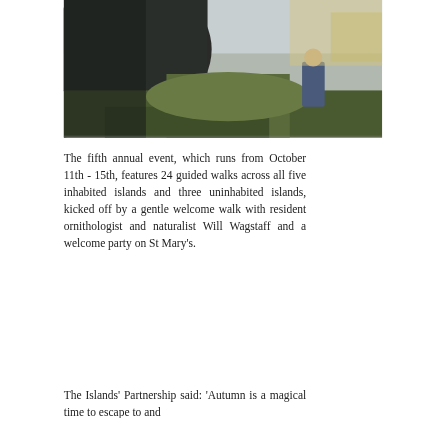[Figure (photo): Outdoor landscape photo showing dark rocky cliffs or hills on the left side, green vegetation in the middle ground, and a person visible on the right side against a blurred natural background. Sky is light/overcast.]
The fifth annual event, which runs from October 11th - 15th, features 24 guided walks across all five inhabited islands and three uninhabited islands, kicked off by a gentle welcome walk with resident ornithologist and naturalist Will Wagstaff and a welcome party on St Mary's.
The Islands' Partnership said: 'Autumn is a magical time to escape to and